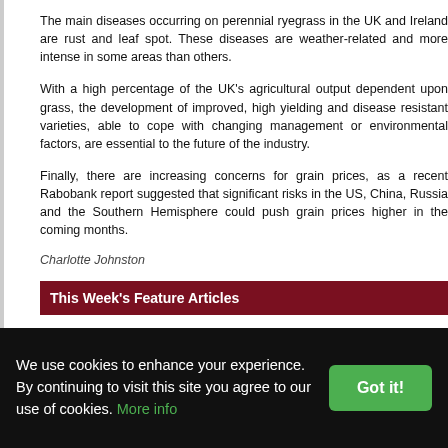The main diseases occurring on perennial ryegrass in the UK and Ireland are rust and leaf spot. These diseases are weather-related and more intense in some areas than others.
With a high percentage of the UK's agricultural output dependent upon grass, the development of improved, high yielding and disease resistant varieties, able to cope with changing management or environmental factors, are essential to the future of the industry.
Finally, there are increasing concerns for grain prices, as a recent Rabobank report suggested that significant risks in the US, China, Russia and the Southern Hemisphere could push grain prices higher in the coming months.
Charlotte Johnston
This Week's Feature Articles
We have 4 new features this week:
Using Genomics To Improve Business
One farmer in the UK aims to produce the perfect steak, and he is using genomics to achieve this. Charlotte Johnston, TheCattleSite junior editor speaks to Paul Westa...
We use cookies to enhance your experience. By continuing to visit this site you agree to our use of cookies. More info